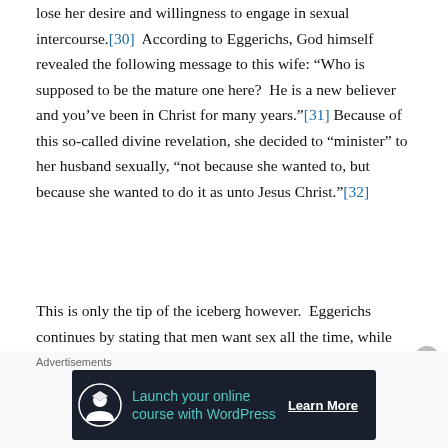lose her desire and willingness to engage in sexual intercourse.[30]  According to Eggerichs, God himself revealed the following message to this wife: “Who is supposed to be the mature one here?  He is a new believer and you’ve been in Christ for many years.”[31] Because of this so-called divine revelation, she decided to “minister” to her husband sexually, “not because she wanted to, but because she wanted to do it as unto Jesus Christ.”[32]
This is only the tip of the iceberg however.  Eggerichs continues by stating that men want sex all the time, while women supposedly do not have such a “need.”  This means that having sex with one’s husband is a god-given
Advertisements
[Figure (screenshot): Advertisement banner: dark navy background with WordPress/Teachable course launch ad. Shows icon of person with graduation cap, teal text 'Launch your online course with WordPress', and white bold 'Learn More' button.]